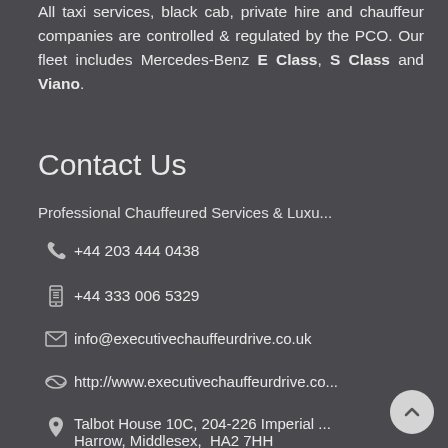All taxi services, black cab, private hire and chauffeur companies are controlled & regulated by the PCO. Our fleet includes Mercedes-Benz E Class, S Class and Viano.
Contact Us
Professional Chauffeured Services & Luxu...
+44 203 444 0438
+44 333 006 5329
info@executivechauffeurdrive.co.uk
http://www.executivechauffeurdrive.co...
Talbot House 10C, 204-226 Imperial ... Harrow, Middlesex,  HA2 7HH